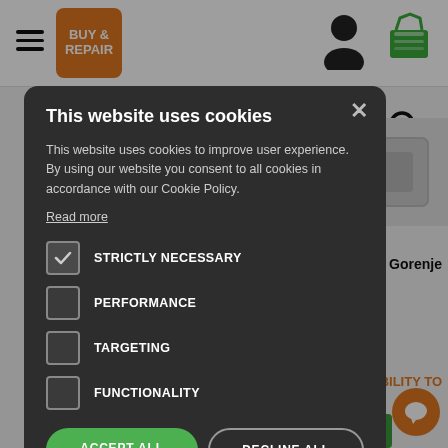[Figure (screenshot): Buy & Repair website navigation bar with hamburger menu, orange logo, person icon, basket icon]
[Figure (screenshot): Cookie consent modal dialog on Buy & Repair website]
This website uses cookies
This website uses cookies to improve user experience. By using our website you consent to all cookies in accordance with our Cookie Policy.
Read more
STRICTLY NECESSARY (checked)
PERFORMANCE
TARGETING
FUNCTIONALITY
ACCEPT ALL
DECLINE ALL
SHOW DETAILS